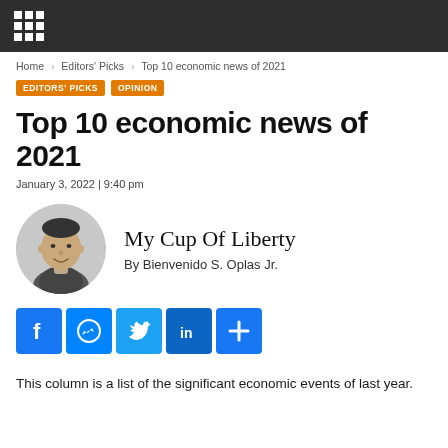Home › Editors' Picks › Top 10 economic news of 2021
EDITORS' PICKS   OPINION
Top 10 economic news of 2021
January 3, 2022 | 9:40 pm
[Figure (photo): Headshot photo of columnist Bienvenido S. Oplas Jr., black and white portrait]
My Cup Of Liberty
By Bienvenido S. Oplas Jr.
[Figure (infographic): Social sharing buttons: Facebook, Messenger, Twitter, LinkedIn, and a plus/more button]
This column is a list of the significant economic events of last year.